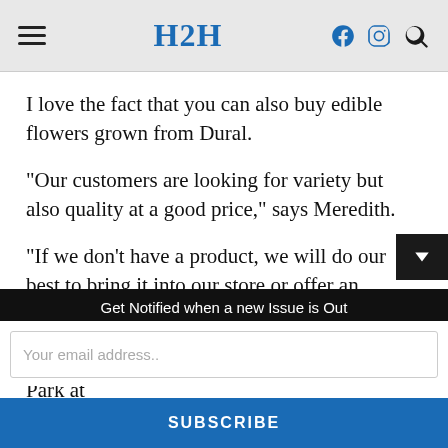H2H
I love the fact that you can also buy edible flowers grown from Dural.
“Our customers are looking for variety but also quality at a good price,” says Meredith.
“If we don’t have a product, we will do our best to bring it into our store or offer an alternative.”
Panetta Mercato is on the Lower Level Car Park at Stockland Mall (Olive St entrance) Baulkham
Get Notified when a new Issue is Out
Your email address..
SUBSCRIBE